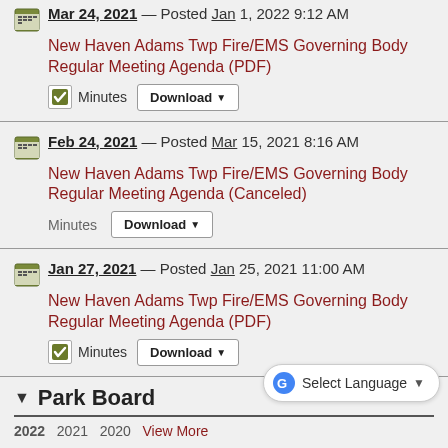Mar 24, 2021 — Posted Jan 1, 2022 9:12 AM
New Haven Adams Twp Fire/EMS Governing Body Regular Meeting Agenda (PDF)
Minutes Download
Feb 24, 2021 — Posted Mar 15, 2021 8:16 AM
New Haven Adams Twp Fire/EMS Governing Body Regular Meeting Agenda (Canceled)
Minutes Download
Jan 27, 2021 — Posted Jan 25, 2021 11:00 AM
New Haven Adams Twp Fire/EMS Governing Body Regular Meeting Agenda (PDF)
Minutes Download
Park Board
2022  2021  2020  View More